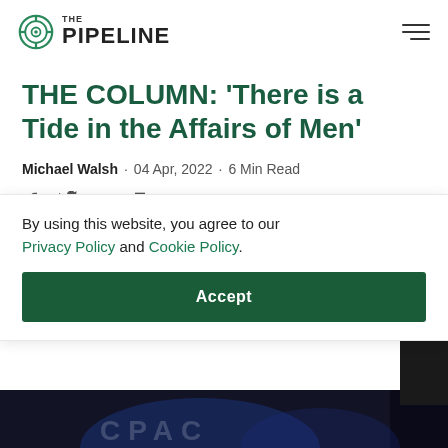THE PIPELINE
THE COLUMN: 'There is a Tide in the Affairs of Men'
Michael Walsh · 04 Apr, 2022 · 6 Min Read
[Figure (infographic): Social share icons: Facebook, Twitter, Email, Print]
By using this website, you agree to our Privacy Policy and Cookie Policy.
Accept
[Figure (photo): Partial photo of a stage event with blue lighting, bottom of page]